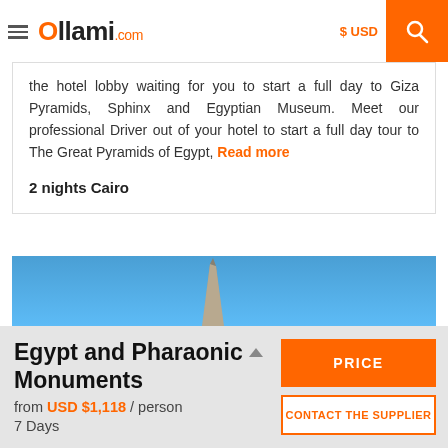≡  Ollami.com   $ USD  🔍
the hotel lobby waiting for you to start a full day to Giza Pyramids, Sphinx and Egyptian Museum. Meet our professional Driver out of your hotel to start a full day tour to The Great Pyramids of Egypt, Read more
2 nights Cairo
[Figure (photo): Obelisk against a clear blue sky]
Egypt and Pharaonic Monuments
from USD $1,118 / person
7 Days